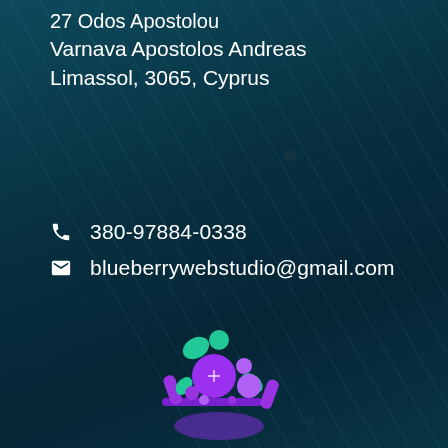27 Odos Apostolou
Varnava Apostolos Andreas
Limassol, 3065, Cyprus
📞 380-97884-0338
✉ blueberrywebstudio@gmail.com
[Figure (logo): Blueberry Web Studio logo — a stylized figure holding a laptop with purple and teal blueberry-like circles]